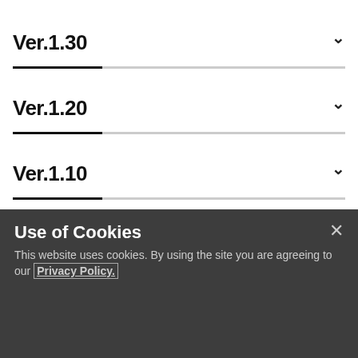Ver.1.30
Ver.1.20
Ver.1.10
Ver.1.01
Firmware Update Steps
Use of Cookies
This website uses cookies. By using the site you are agreeing to our Privacy Policy.
1  Check the firmware version.